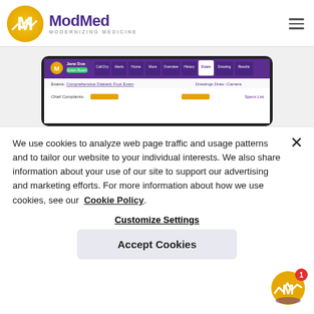ModMed MODERNIZING MEDICINE
[Figure (screenshot): Screenshot of ModMed EHR tablet application showing a patient record for Jane Doe with a Comprehensive Diabetic Foot Exam, with navigation tabs including Call Dry, Alerts, Home, More, Overview, History, Exam, Drawing, Results]
We use cookies to analyze web page traffic and usage patterns and to tailor our website to your individual interests. We also share information about your use of our site to support our advertising and marketing efforts. For more information about how we use cookies, see our Cookie Policy.
Customize Settings
Accept Cookies